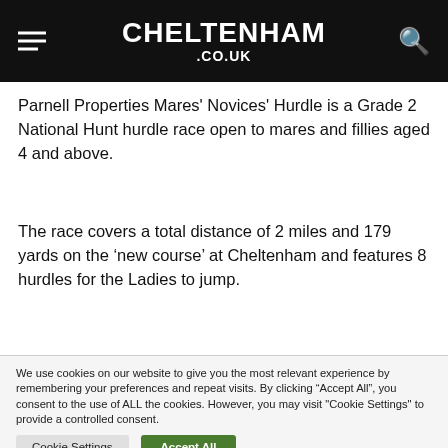CHELTENHAM .CO.UK
Parnell Properties Mares' Novices' Hurdle is a Grade 2 National Hunt hurdle race open to mares and fillies aged 4 and above.
The race covers a total distance of 2 miles and 179 yards on the ‘new course’ at Cheltenham and features 8 hurdles for the Ladies to jump.
We use cookies on our website to give you the most relevant experience by remembering your preferences and repeat visits. By clicking “Accept All”, you consent to the use of ALL the cookies. However, you may visit "Cookie Settings" to provide a controlled consent.